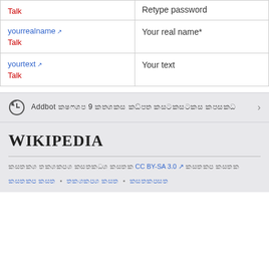| Talk | Retype password |
| yourrealname ↗
Talk | Your real name* |
| yourtext ↗
Talk | Your text |
Addbot [scrambled text] 9 [scrambled text]
Wikipedia
[license text] CC BY-SA 3.0 ↗ [scrambled text]
[footer links]